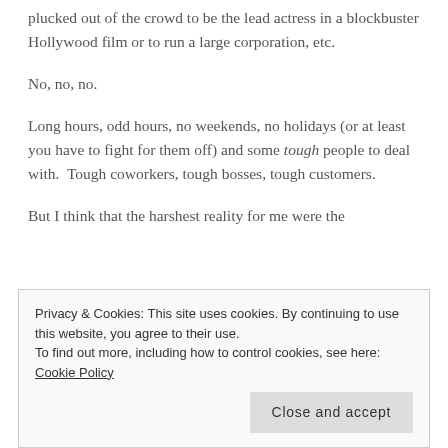plucked out of the crowd to be the lead actress in a blockbuster Hollywood film or to run a large corporation, etc.
No, no, no.
Long hours, odd hours, no weekends, no holidays (or at least you have to fight for them off) and some tough people to deal with.  Tough coworkers, tough bosses, tough customers.
But I think that the harshest reality for me were the
Privacy & Cookies: This site uses cookies. By continuing to use this website, you agree to their use.
To find out more, including how to control cookies, see here: Cookie Policy